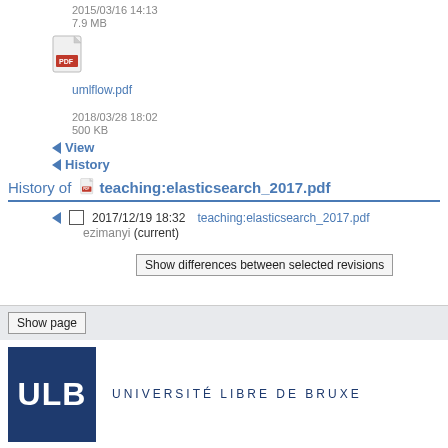2015/03/16 14:13
7.9 MB
[Figure (other): PDF file icon for umlflow.pdf]
umlflow.pdf
2018/03/28 18:02
500 KB
View
History
History of teaching:elasticsearch_2017.pdf
2017/12/19 18:32   teaching:elasticsearch_2017.pdf
ezimanyi (current)
Show differences between selected revisions
Show page
[Figure (logo): ULB - Université Libre de Bruxelles logo]